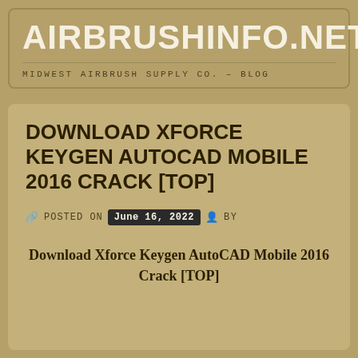AIRBRUSHINFO.NET ≡
MIDWEST AIRBRUSH SUPPLY CO. – BLOG
DOWNLOAD XFORCE KEYGEN AUTOCAD MOBILE 2016 CRACK [TOP]
🔗 POSTED ON  June 16, 2022  👤 BY
Download Xforce Keygen AutoCAD Mobile 2016 Crack [TOP]